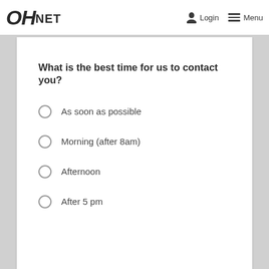OH NET  Login  Menu
What is the best time for us to contact you?
As soon as possible
Morning (after 8am)
Afternoon
After 5 pm